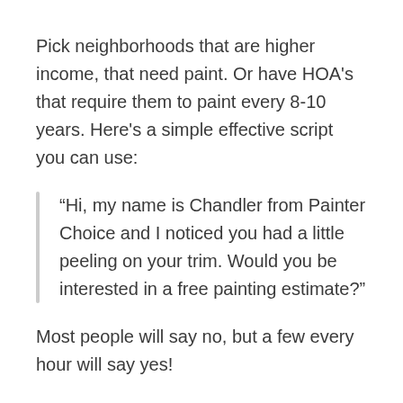Pick neighborhoods that are higher income, that need paint. Or have HOA's that require them to paint every 8-10 years. Here's a simple effective script you can use:
“Hi, my name is Chandler from Painter Choice and I noticed you had a little peeling on your trim. Would you be interested in a free painting estimate?”
Most people will say no, but a few every hour will say yes!
You’ll want to set up a time later to actually do the estimate. Some people will expect you to do the